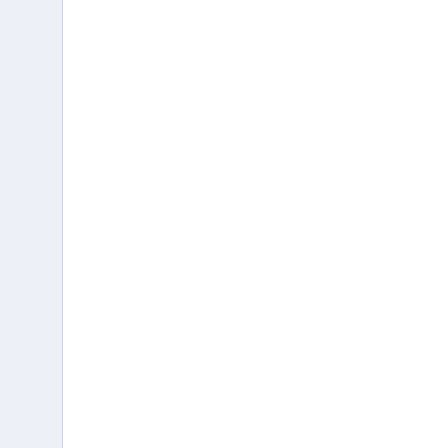sga_target
shadow_core_dump
shared_memory_address
shared_pool_reserved_size
shared_pool_size
shared_server_sessions
shared_servers
skip_unusable_indexes
smtp_out_server
sort_area_retained_size
sort_area_size
spfile
sql92_security
sqltune_category
standby_file_management
star_transformation_enabled
statistics_level
streams_pool_size
tape_asynch_io
thread
timed_os_statistics
timed_statistics
trace_enabled